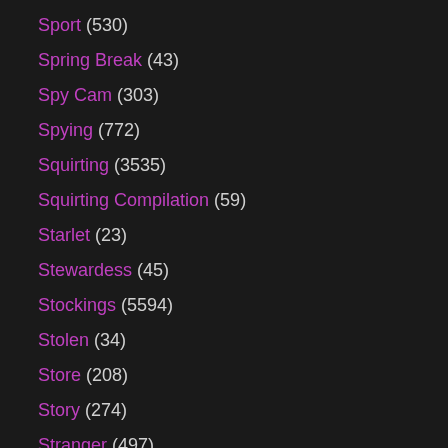Sport (530)
Spring Break (43)
Spy Cam (303)
Spying (772)
Squirting (3535)
Squirting Compilation (59)
Starlet (23)
Stewardess (45)
Stockings (5594)
Stolen (34)
Store (208)
Story (274)
Stranger (497)
Strap-on (2051)
Strap-on Femdom (947)
Strap-on Lesbian (499)